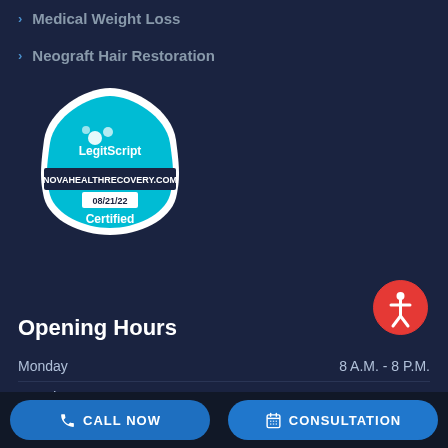Medical Weight Loss
Neograft Hair Restoration
[Figure (logo): LegitScript certification badge showing NOVAHEALTHRECOVERY.COM, date 08/21/22, and Certified label on a cyan hexagonal badge]
[Figure (other): Red circular accessibility icon button]
Opening Hours
| Day | Hours |
| --- | --- |
| Monday | 8 A.M. - 8 P.M. |
| Tuesday | 9 A.M. - 8 P.M. |
| Wednesday | 9 A.M. - 8 P.M. |
CALL NOW
CONSULTATION